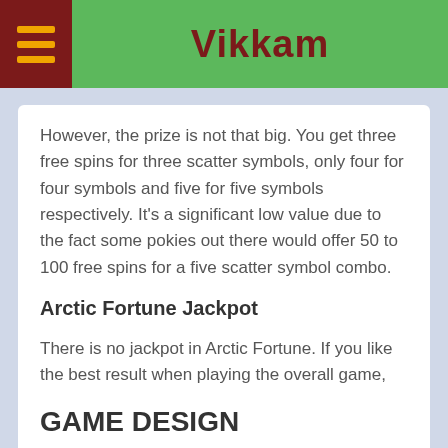Vikkam
However, the prize is not that big. You get three free spins for three scatter symbols, only four for four symbols and five for five symbols respectively. It's a significant low value due to the fact some pokies out there would offer 50 to 100 free spins for a five scatter symbol combo.
Arctic Fortune Jackpot
There is no jackpot in Arctic Fortune. If you like the best result when playing the overall game, it's probably a pay distinct five male Vikings with shield symbols. It's pretty difficult to do it because that symbol rarely appears.
GAME DESIGN